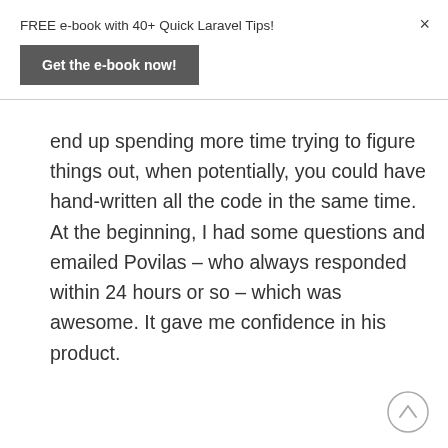FREE e-book with 40+ Quick Laravel Tips!
Get the e-book now!
×
end up spending more time trying to figure things out, when potentially, you could have hand-written all the code in the same time. At the beginning, I had some questions and emailed Povilas – who always responded within 24 hours or so – which was awesome. It gave me confidence in his product.